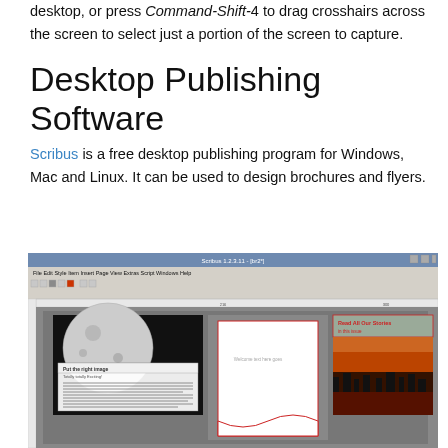desktop, or press Command-Shift-4 to drag crosshairs across the screen to select just a portion of the screen to capture.
Desktop Publishing Software
Scribus is a free desktop publishing program for Windows, Mac and Linux. It can be used to design brochures and flyers.
[Figure (screenshot): Screenshot of the Scribus desktop publishing application showing a document layout with a moon image, text columns, a white shape, and a sunset cityscape image.]